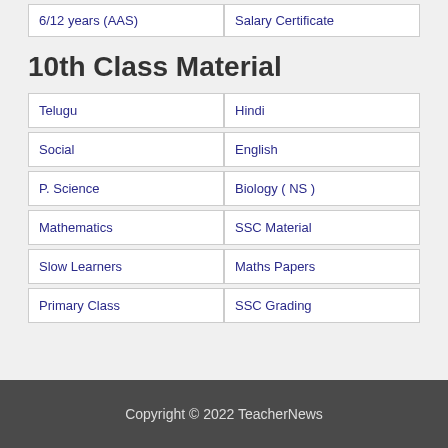| 6/12 years (AAS) | Salary Certificate |
10th Class Material
| Telugu | Hindi |
| Social | English |
| P. Science | Biology ( NS ) |
| Mathematics | SSC Material |
| Slow Learners | Maths Papers |
| Primary Class | SSC Grading |
Copyright © 2022 TeacherNews